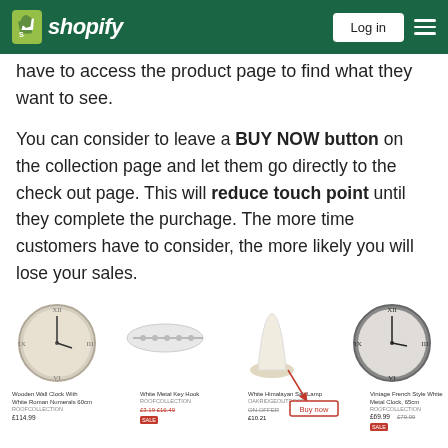Shopify — Log in
have to access the product page to find what they want to see.
You can consider to leave a BUY NOW button on the collection page and let them go directly to the check out page. This will reduce touch point until they complete the purchage. The more time customers have to consider, the more likely you will lose your sales.
[Figure (screenshot): Screenshot of a Shopify collection page showing four products: Wooden Wall Clock With White Roman Numerals 60cm, White Metal Key Hook description/items, White Himalayan Salt Lamp (with a red arrow pointing to a 'Buy now' button), and Vintage French Style White Metal Clock 65cm. Products show prices and sale badges.]